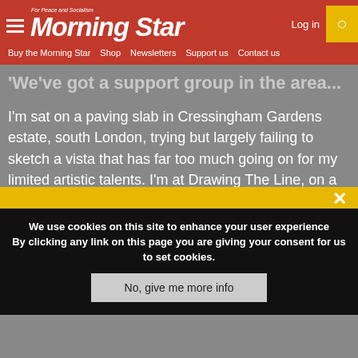Morning Star — For Peace and Socialism | Log in | Buy the Morning Star | Shop | Newsletters | Support us | Contact us
'We've got a support group in the area...'
I'm sat on a paving slab in Cressingham Gardens estate, south London, trying but largely failing to sketch a vista that has far too much going on for my limited artistic talents. I'm at Drawing The Line, on a sunny autumn afternoon.
I try my best. What to focus on? I look around. A lot of greenery. A child bouncing a ball as he climbs
We use cookies on this site to enhance your user experience By clicking any link on this page you are giving your consent for us to set cookies.
No, give me more info